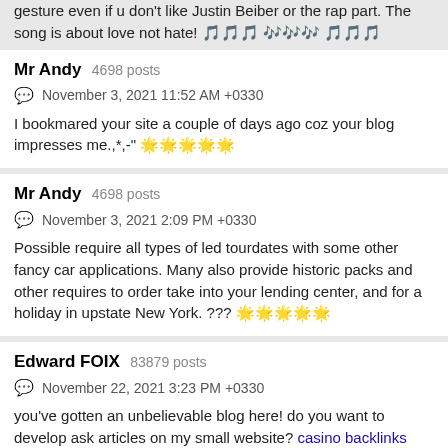gesture even if u don't like Justin Beiber or the rap part. The song is about love not hate! 🎵🎵🎵 🎶🎶🎶 🎵🎵🎵
Mr Andy  4698 posts
November 3, 2021 11:52 AM +0330
I bookmared your site a couple of days ago coz your blog impresses me.,*,-" 🌟🌟🌟🌟🌟
Mr Andy  4698 posts
November 3, 2021 2:09 PM +0330
Possible require all types of led tourdates with some other fancy car applications. Many also provide historic packs and other requires to order take into your lending center, and for a holiday in upstate New York. ??? 🌟🌟🌟🌟🌟
Edward FOIX  83879 posts
November 22, 2021 3:23 PM +0330
you've gotten an unbelievable blog here! do you want to develop ask articles on my small website? casino backlinks service
Edward FOIX  83879 posts